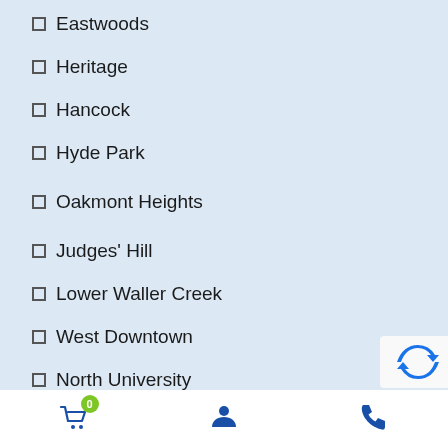Eastwoods
Heritage
Hancock
Hyde Park
Oakmont Heights
Judges' Hill
Lower Waller Creek
West Downtown
North University
Old Pecan Street
Original Austin